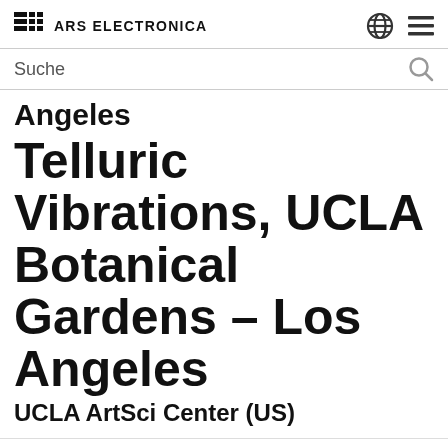ARS ELECTRONICA
Suche
Angeles
Telluric Vibrations, UCLA Botanical Gardens – Los Angeles
UCLA ArtSci Center (US)
Dieser Text ist nur in englischer Sprache verfügbar.